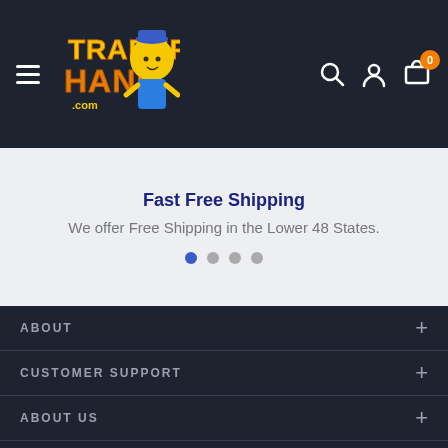[Figure (logo): Trader Hank logo with cartoon character, yellow and orange text on dark background]
Fast Free Shipping
We offer Free Shipping in the Lower 48 States.
ABOUT
CUSTOMER SUPPORT
ABOUT US
SUBSCRIBE